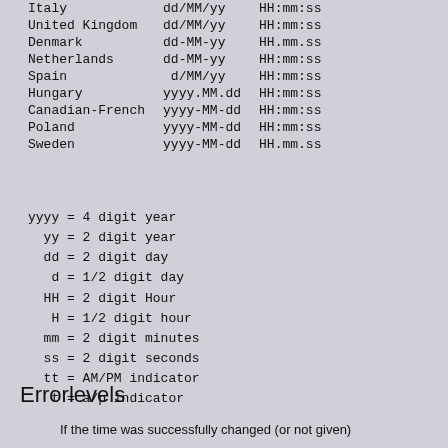| Country | Date Format | Time Format |
| --- | --- | --- |
| Italy | dd/MM/yy | HH:mm:ss |
| United Kingdom | dd/MM/yy | HH:mm:ss |
| Denmark | dd-MM-yy | HH.mm.ss |
| Netherlands | dd-MM-yy | HH:mm:ss |
| Spain | d/MM/yy | HH:mm:ss |
| Hungary | yyyy.MM.dd | HH:mm:ss |
| Canadian-French | yyyy-MM-dd | HH:mm:ss |
| Poland | yyyy-MM-dd | HH:mm:ss |
| Sweden | yyyy-MM-dd | HH.mm.ss |
yyyy = 4 digit year
yy = 2 digit year
dd = 2 digit day
d = 1/2 digit day
HH = 2 digit Hour
H = 1/2 digit hour
mm = 2 digit minutes
ss = 2 digit seconds
tt = AM/PM indicator
t = a/p indicator
Errorlevels
If the time was successfully changed (or not given)